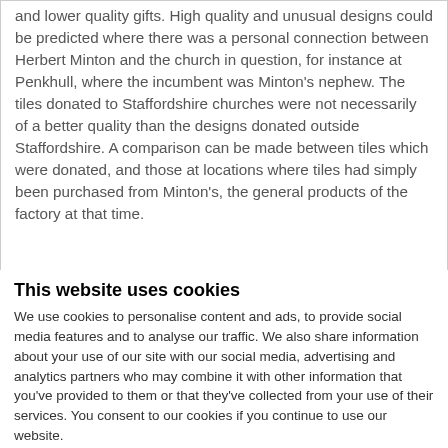and lower quality gifts. High quality and unusual designs could be predicted where there was a personal connection between Herbert Minton and the church in question, for instance at Penkhull, where the incumbent was Minton's nephew. The tiles donated to Staffordshire churches were not necessarily of a better quality than the designs donated outside Staffordshire. A comparison can be made between tiles which were donated, and those at locations where tiles had simply been purchased from Minton's, the general products of the factory at that time.
This website uses cookies
We use cookies to personalise content and ads, to provide social media features and to analyse our traffic. We also share information about your use of our site with our social media, advertising and analytics partners who may combine it with other information that you've provided to them or that they've collected from your use of their services. You consent to our cookies if you continue to use our website.